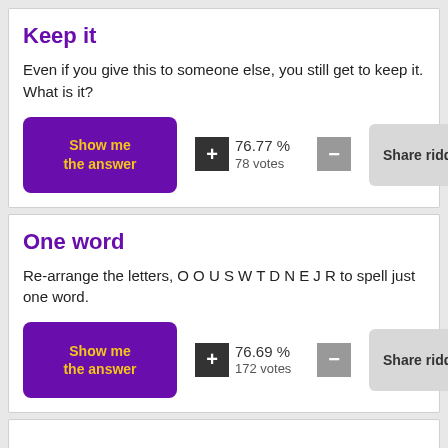Keep it
Even if you give this to someone else, you still get to keep it. What is it?
Show me the answer | + | 76.77 % 78 votes | − | Share riddle
One word
Re-arrange the letters, O O U S W T D N E J R to spell just one word.
Show me the answer | + | 76.69 % 172 votes | − | Share riddle